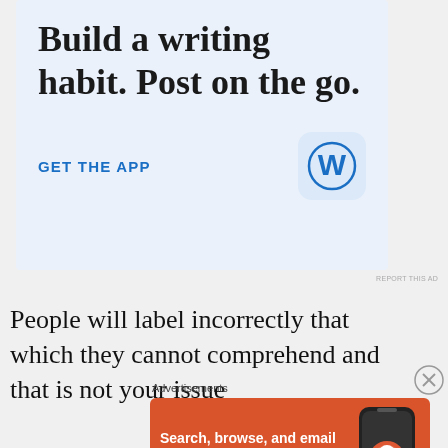[Figure (screenshot): WordPress app advertisement with light blue background. Large bold text: 'Build a writing habit. Post on the go.' followed by 'GET THE APP' in blue and WordPress 'W' logo icon.]
REPORT THIS AD
People will label incorrectly that which they cannot comprehend and that is not your issue
Advertisements
[Figure (screenshot): DuckDuckGo app advertisement with orange/red background. Text: 'Search, browse, and email with more privacy. All in One Free App' with DuckDuckGo logo and phone mockup.]